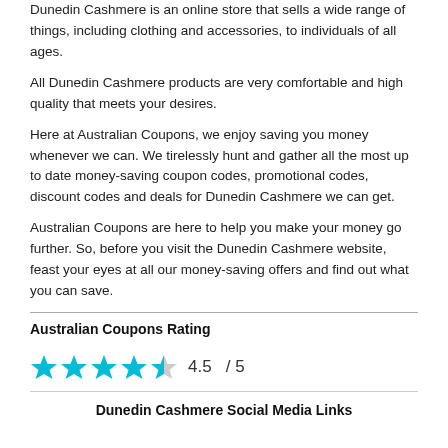Dunedin Cashmere is an online store that sells a wide range of things, including clothing and accessories, to individuals of all ages.
All Dunedin Cashmere products are very comfortable and high quality that meets your desires.
Here at Australian Coupons, we enjoy saving you money whenever we can. We tirelessly hunt and gather all the most up to date money-saving coupon codes, promotional codes, discount codes and deals for Dunedin Cashmere we can get.
Australian Coupons are here to help you make your money go further. So, before you visit the Dunedin Cashmere website, feast your eyes at all our money-saving offers and find out what you can save.
Australian Coupons Rating
[Figure (other): Star rating: 4.5 out of 5 stars shown with cyan/teal filled star icons]
4.5   / 5
Dunedin Cashmere Social Media Links